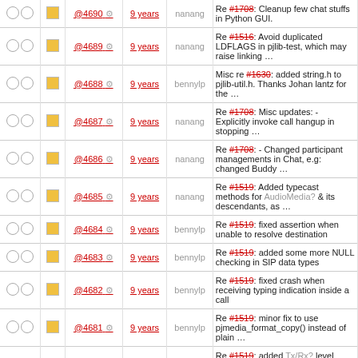|  |  | Rev | Age | Author | Message |
| --- | --- | --- | --- | --- | --- |
| ○ ○ | □ | @4690 ⚙ | 9 years | nanang | Re #1708: Cleanup few chat stuffs in Python GUI. |
| ○ ○ | □ | @4689 ⚙ | 9 years | nanang | Re #1516: Avoid duplicated LDFLAGS in pjlib-test, which may raise linking … |
| ○ ○ | □ | @4688 ⚙ | 9 years | bennylp | Misc re #1630: added string.h to pjlib-util.h. Thanks Johan lantz for the … |
| ○ ○ | □ | @4687 ⚙ | 9 years | nanang | Re #1708: Misc updates: - Explicitly invoke call hangup in stopping … |
| ○ ○ | □ | @4686 ⚙ | 9 years | nanang | Re #1708: - Changed participant managements in Chat, e.g: changed Buddy … |
| ○ ○ | □ | @4685 ⚙ | 9 years | nanang | Re #1519: Added typecast methods for AudioMedia? & its descendants, as … |
| ○ ○ | □ | @4684 ⚙ | 9 years | bennylp | Re #1519: fixed assertion when unable to resolve destination |
| ○ ○ | □ | @4683 ⚙ | 9 years | bennylp | Re #1519: added some more NULL checking in SIP data types |
| ○ ○ | □ | @4682 ⚙ | 9 years | bennylp | Re #1519: fixed crash when receiving typing indication inside a call |
| ○ ○ | □ | @4681 ⚙ | 9 years | bennylp | Re #1519: minor fix to use pjmedia_format_copy() instead of plain … |
| ○ ○ | □ | @4680 ⚙ | 9 years | bennylp | Re #1519: added Tx/Rx? level adjustment in conf port info in pjsua-lib and … |